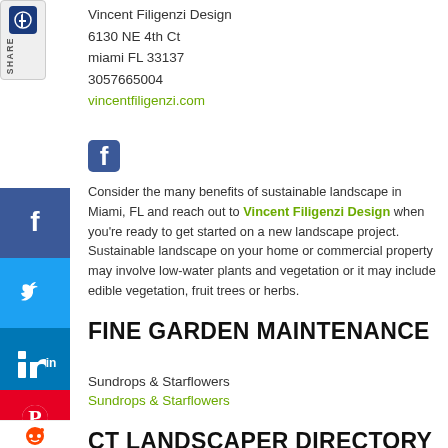Vincent Filigenzi Design
6130 NE 4th Ct
miami FL 33137
3057665004
vincentfiligenzi.com
[Figure (logo): Facebook icon square blue]
Consider the many benefits of sustainable landscape in Miami, FL and reach out to Vincent Filigenzi Design when you're ready to get started on a new landscape project. Sustainable landscape on your home or commercial property may involve low-water plants and vegetation or it may include edible vegetation, fruit trees or herbs.
FINE GARDEN MAINTENANCE
Sundrops & Starflowers
Sundrops & Starflowers
CT LANDSCAPER DIRECTORY